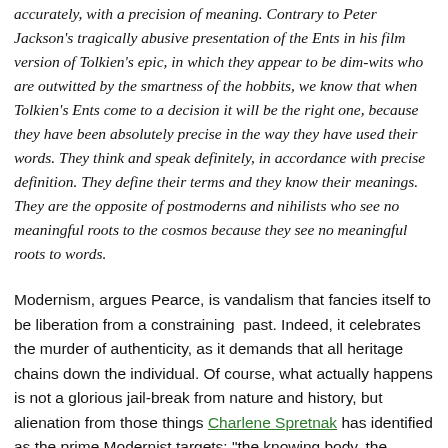accurately, with a precision of meaning. Contrary to Peter Jackson's tragically abusive presentation of the Ents in his film version of Tolkien's epic, in which they appear to be dim-wits who are outwitted by the smartness of the hobbits, we know that when Tolkien's Ents come to a decision it will be the right one, because they have been absolutely precise in the way they have used their words. They think and speak definitely, in accordance with precise definition. They define their terms and they know their meanings. They are the opposite of postmoderns and nihilists who see no meaningful roots to the cosmos because they see no meaningful roots to words.
Modernism, argues Pearce, is vandalism that fancies itself to be liberation from a constraining past. Indeed, it celebrates the murder of authenticity, as it demands that all heritage chains down the individual. Of course, what actually happens is not a glorious jail-break from nature and history, but alienation from those things Charlene Spretnak has identified as the prime Modernist targets: "the knowing body, the